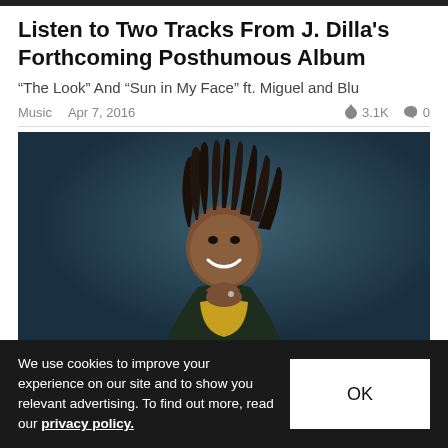Listen to Two Tracks From J. Dilla's Forthcoming Posthumous Album
“The Look” And “Sun in My Face” ft. Miguel and Blu
Music  Apr 7, 2016  🔥 3.1K  💬 0
[Figure (photo): Man with dreadlocks smiling, wearing a yellow shirt and dark jacket, photographed against a dark blue background.]
We use cookies to improve your experience on our site and to show you relevant advertising. To find out more, read our privacy policy.